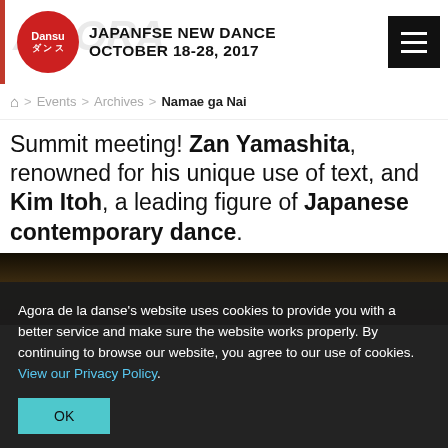JAPANFSE NEW DANCE OCTOBER 18-28, 2017
Home > Events > Archives > Namae ga Nai
Summit meeting! Zan Yamashita, renowned for his unique use of text, and Kim Itoh, a leading figure of Japanese contemporary dance.
[Figure (photo): Dark stage photo banner]
Agora de la danse's website uses cookies to provide you with a better service and make sure the website works properly. By continuing to browse our website, you agree to our use of cookies. View our Privacy Policy.
OK